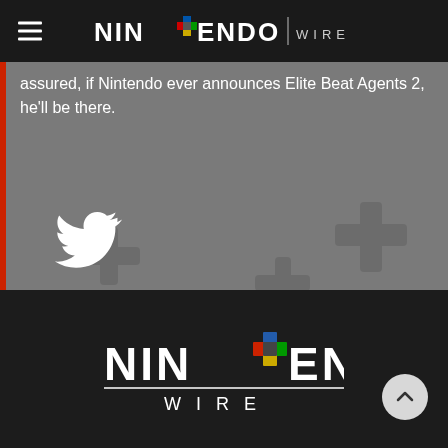Nintendo Wire
assured, if Nintendo ever announces Elite Beat Agents 2, he'll be there.
[Figure (logo): Twitter bird icon in white]
[Figure (photo): Gray background with D-pad cross pattern]
[Figure (logo): Nintendo Wire footer logo in white on dark background]
Nintendo Wire